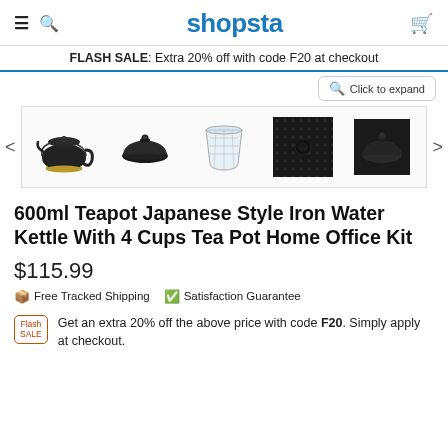shopsta
FLASH SALE: Extra 20% off with code F20 at checkout
[Figure (photo): Product image gallery showing five thumbnail views of a 600ml Japanese style iron teapot set: full teapot view, lid, glass strainer insert, close-up of textured body, and knob detail.]
600ml Teapot Japanese Style Iron Water Kettle With 4 Cups Tea Pot Home Office Kit
$115.99
Free Tracked Shipping   Satisfaction Guarantee
Get an extra 20% off the above price with code F20. Simply apply at checkout.